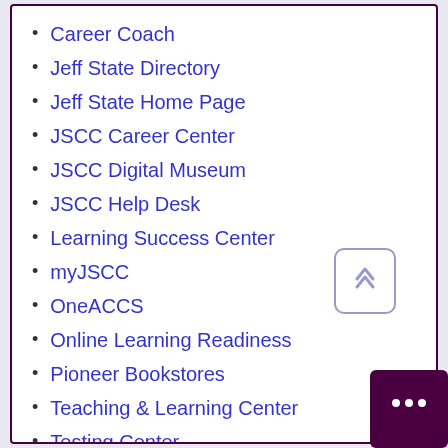Career Coach
Jeff State Directory
Jeff State Home Page
JSCC Career Center
JSCC Digital Museum
JSCC Help Desk
Learning Success Center
myJSCC
OneACCS
Online Learning Readiness
Pioneer Bookstores
Teaching & Learning Center
Testing Center
Tutoring [Math & English]